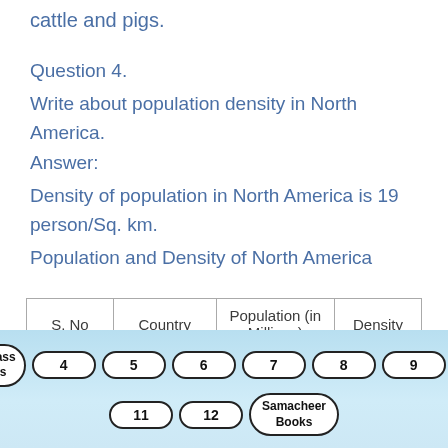cattle and pigs.
Question 4.
Write about population density in North America.
Answer:
Density of population in North America is 19 person/Sq. km.
Population and Density of North America
| S. No | Country | Population (in Millions) | Density |
| --- | --- | --- | --- |
TN 3rd Class Solutions  4  5  6  7  8  9  10  11  12  Samacheer Books